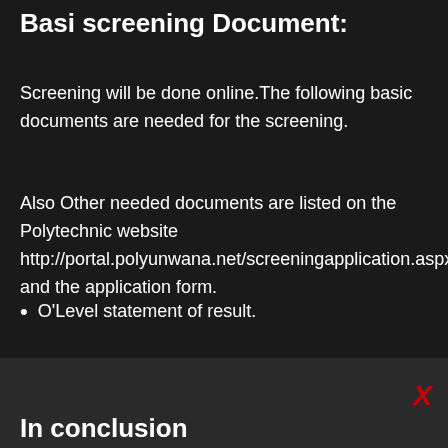Basi screening Document:
Screening will be done online.The following basic documents are needed for the screening.
Also Other needed documents are listed on the Polytechnic website http://portal.polyunwana.net/screeningapplication.aspx and the application form.
O'Level statement of result.
In conclusion